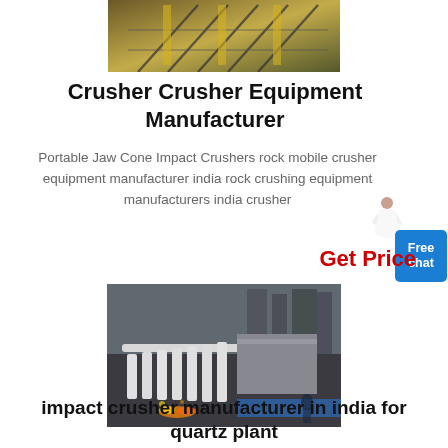[Figure (photo): Top partial image of industrial construction equipment or crane structure with yellow painted metal framework]
Crusher Crusher Equipment Manufacturer
Portable Jaw Cone Impact Crushers rock mobile crusher equipment manufacturer india rock crushing equipment manufacturers india crusher
Get Price
[Figure (photo): Industrial factory interior showing crusher equipment with multiple cylindrical white components and sparks on a conveyor belt system]
impact crusher manufacturer in india for quartz plant